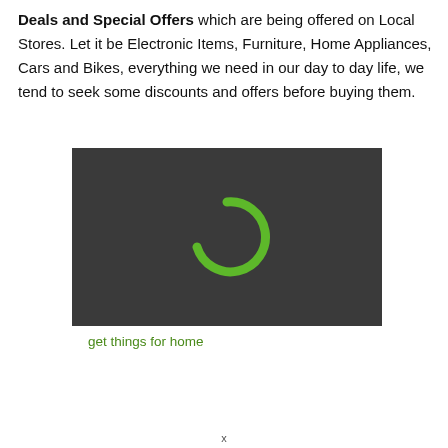Deals and Special Offers which are being offered on Local Stores. Let it be Electronic Items, Furniture, Home Appliances, Cars and Bikes, everything we need in our day to day life, we tend to seek some discounts and offers before buying them.
[Figure (screenshot): Dark background image with a green loading/spinner arc icon in the center]
get things for home